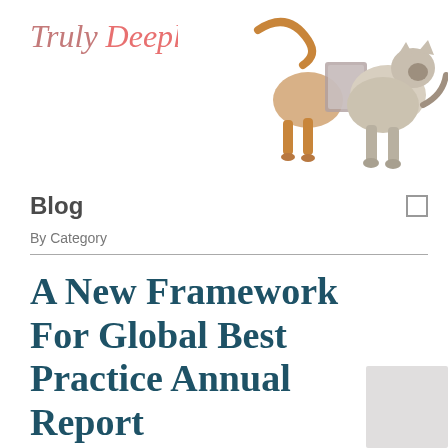Truly Deeply
[Figure (photo): Two cats walking through a small pet door/flap, photographed against a white background]
Blog
By Category
A New Framework For Global Best Practice Annual Report